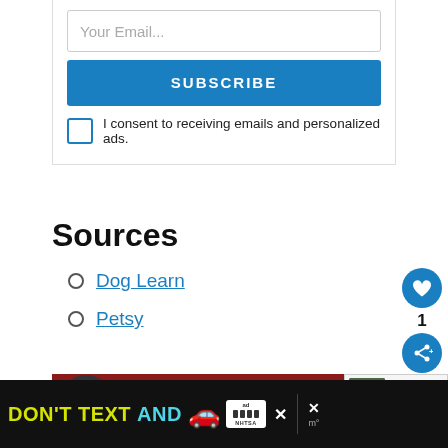Your Email...
SUBSCRIBE
I consent to receiving emails and personalized ads.
Sources
Dog Learn
Petsy
[Figure (other): Advertisement banner showing a dog and text 'CHANGE A LI...' on dark red background]
[Figure (other): What's Next panel showing 'WHAT'S NEXT → 10 Best Activities Fo...' with a dog photo]
[Figure (other): Bottom ad bar: 'DON'T TEXT AND' with car emoji, NHTSA ad label, and close buttons]